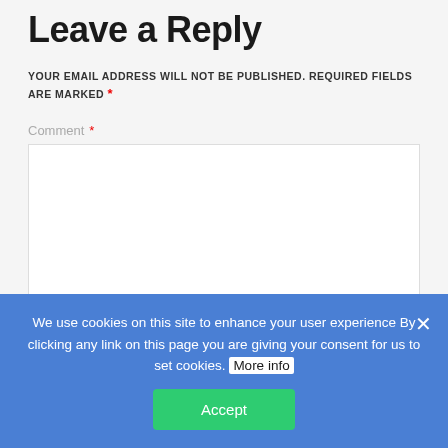Leave a Reply
YOUR EMAIL ADDRESS WILL NOT BE PUBLISHED. REQUIRED FIELDS ARE MARKED *
Comment *
[Figure (screenshot): Empty comment text area input box with resize handle in bottom-right corner]
We use cookies on this site to enhance your user experience By clicking any link on this page you are giving your consent for us to set cookies. More info
Accept